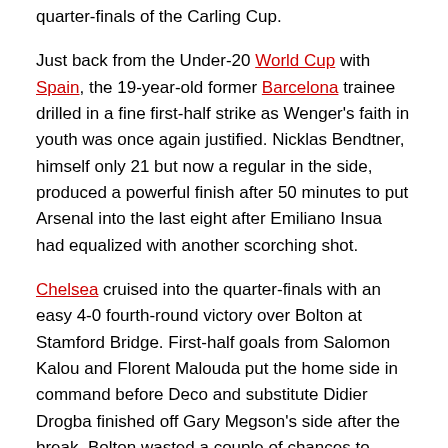quarter-finals of the Carling Cup.
Just back from the Under-20 World Cup with Spain, the 19-year-old former Barcelona trainee drilled in a fine first-half strike as Wenger's faith in youth was once again justified. Nicklas Bendtner, himself only 21 but now a regular in the side, produced a powerful finish after 50 minutes to put Arsenal into the last eight after Emiliano Insua had equalized with another scorching shot.
Chelsea cruised into the quarter-finals with an easy 4-0 fourth-round victory over Bolton at Stamford Bridge. First-half goals from Salomon Kalou and Florent Malouda put the home side in command before Deco and substitute Didier Drogba finished off Gary Megson's side after the break. Bolton wasted a couple of chances to reduce the arrears but Chelsea were always in control despite the loss of goalkeeper Hilario